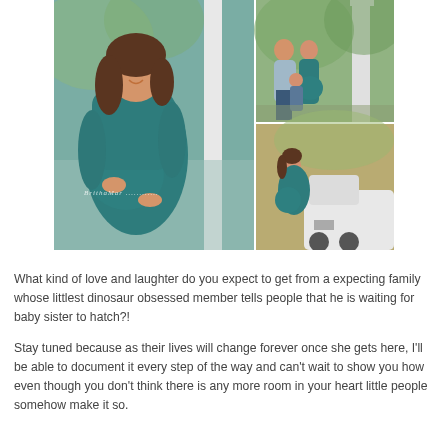[Figure (photo): Maternity photo collage: large left image of pregnant woman in teal long-sleeve dress smiling outdoors near white fence; top-right image of family (man, woman, young child) standing at white garden arbor; bottom-right image of pregnant woman in teal dress leaning against white vintage truck.]
What kind of love and laughter do you expect to get from a expecting family whose littlest dinosaur obsessed member tells people that he is waiting for baby sister to hatch?!
Stay tuned because as their lives will change forever once she gets here, I'll be able to document it every step of the way and can't wait to show you how even though you don't think there is any more room in your heart little people somehow make it so.